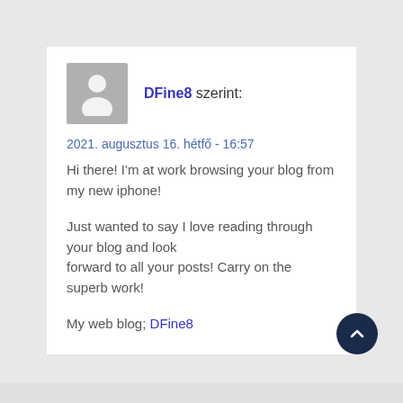DFine8 szerint:
2021. augusztus 16. hétfő - 16:57
Hi there! I'm at work browsing your blog from my new iphone!

Just wanted to say I love reading through your blog and look
forward to all your posts! Carry on the superb work!

My web blog; DFine8